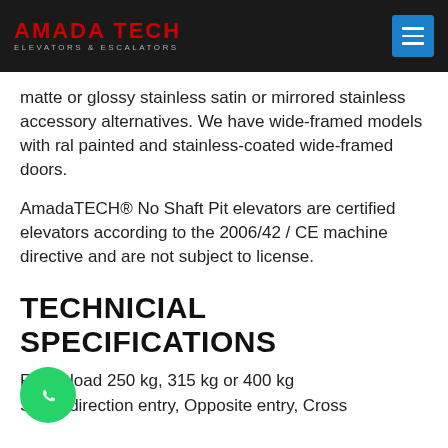AMADA TECH ELEVATORS & ESCALATORS
matte or glossy stainless satin or mirrored stainless accessory alternatives. We have wide-framed models with ral painted and stainless-coated wide-framed doors.
AmadaTECH® No Shaft Pit elevators are certified elevators according to the 2006/42 / CE machine directive and are not subject to license.
TECHNICIAL SPECIFICATIONS
Rated load 250 kg, 315 kg or 400 kg
Same direction entry, Opposite entry, Cross